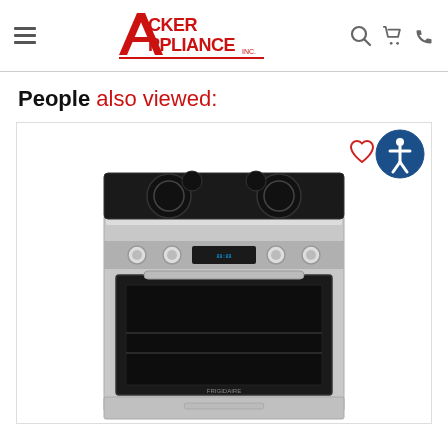[Figure (logo): Acker Appliance Inc. logo in red with stylized A]
People also viewed:
[Figure (photo): Frigidaire stainless steel electric range with glass cooktop, digital controls, and lower drawer]